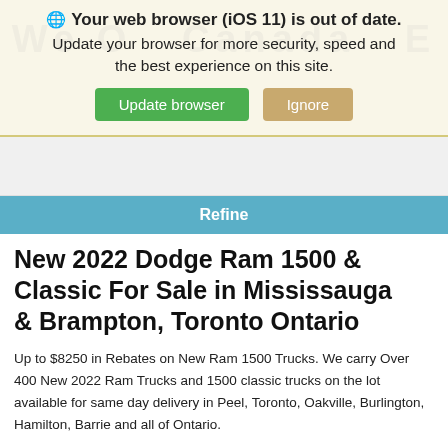🌐 Your web browser (iOS 11) is out of date. Update your browser for more security, speed and the best experience on this site.
Update browser | Ignore
Refine
New 2022 Dodge Ram 1500 & Classic For Sale in Mississauga & Brampton, Toronto Ontario
Up to $8250 in Rebates on New Ram 1500 Trucks. We carry Over 400 New 2022 Ram Trucks and 1500 classic trucks on the lot available for same day delivery in Peel, Toronto, Oakville, Burlington, Hamilton, Barrie and all of Ontario.
RAM 1500 ECO DIESEL